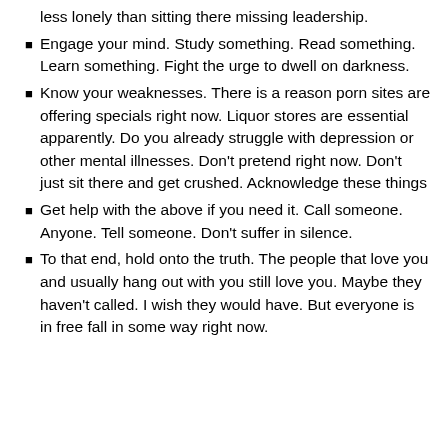less lonely than sitting there missing leadership.
Engage your mind.  Study something.  Read something.  Learn something.  Fight the urge to dwell on darkness.
Know your weaknesses.  There is a reason porn sites are offering specials right now. Liquor stores are essential apparently.  Do you already struggle with depression or other mental illnesses.  Don't pretend right now.  Don't just sit there and get crushed.  Acknowledge these things
Get help with the above if you need it.  Call someone.  Anyone.  Tell someone.  Don't suffer in silence.
To that end, hold onto the truth.  The people that love you and usually hang out with you still love you.  Maybe they haven't called.  I wish they would have.  But everyone is in free fall in some way right now.